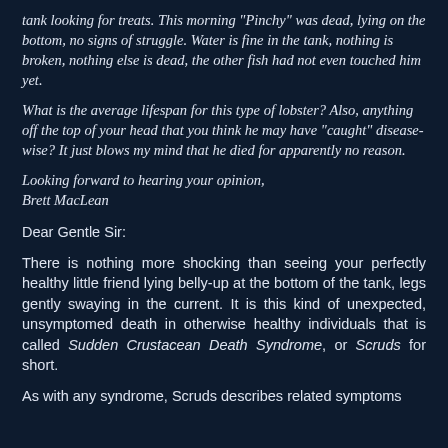tank looking for treats. This morning "Pinchy" was dead, lying on the bottom, no signs of struggle. Water is fine in the tank, nothing is broken, nothing else is dead, the other fish had not even touched him yet.
What is the average lifespan for this type of lobster? Also, anything off the top of your head that you think he may have "caught" disease-wise? It just blows my mind that he died for apparently no reason.
Looking forward to hearing your opinion,
Brett MacLean
Dear Gentle Sir:
There is nothing more shocking than seeing your perfectly healthy little friend lying belly-up at the bottom of the tank, legs gently swaying in the current. It is this kind of unexpected, unsymptomed death in otherwise healthy individuals that is called Sudden Crustacean Death Syndrome, or Scruds for short.
As with any syndrome, Scruds describes related symptoms